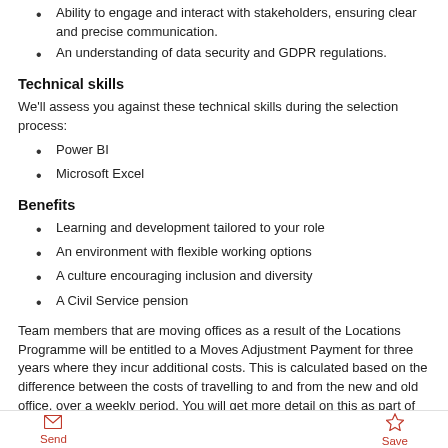Ability to engage and interact with stakeholders, ensuring clear and precise communication.
An understanding of data security and GDPR regulations.
Technical skills
We'll assess you against these technical skills during the selection process:
Power BI
Microsoft Excel
Benefits
Learning and development tailored to your role
An environment with flexible working options
A culture encouraging inclusion and diversity
A Civil Service pension
Team members that are moving offices as a result of the Locations Programme will be entitled to a Moves Adjustment Payment for three years where they incur additional costs. This is calculated based on the difference between the costs of travelling to and from the new and old office, over a weekly period. You will get more detail on this as part of targeted locations move communications.
Send  Save